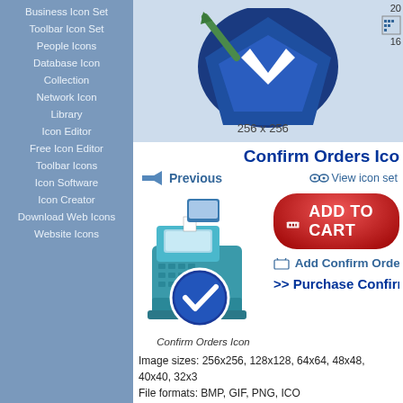Business Icon Set
Toolbar Icon Set
People Icons
Database Icon Collection
Network Icon Library
Icon Editor
Free Icon Editor
Toolbar Icons
Icon Software
Icon Creator
Download Web Icons
Website Icons
[Figure (illustration): Large blue icon preview (256x256) shown at top of main content area]
Confirm Orders Ico
Previous   View icon set
[Figure (illustration): Confirm Orders Icon - cash register with blue checkmark overlay]
Confirm Orders Icon
[Figure (illustration): ADD TO CART red button]
Add Confirm Orders ico
Purchase Confirm Order
Image sizes: 256x256, 128x128, 64x64, 48x48, 40x40, 32x32
File formats: BMP, GIF, PNG, ICO
Purchase entire Business Software Icons now!
View Business Software Icons now!
Download demo icons
Tags: the last airbender icons, skins e4 icons, icons, cool icons free, vmu icon